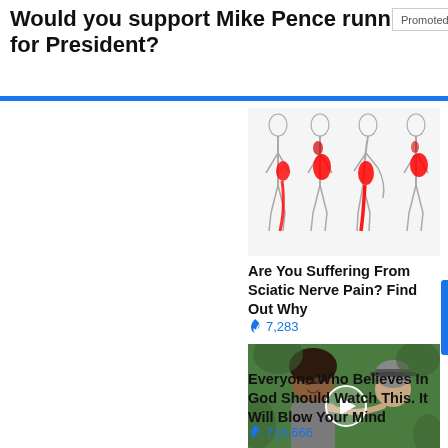Would you support Mike Pence running for President?
[Figure (infographic): Promoted badge with X close button]
[Figure (illustration): Medical illustration of four human body outlines showing sciatic nerve pain pathways highlighted in red along the lower back and leg]
Are You Suffering From Sciatic Nerve Pain? Find Out Why
🔥 7,283
[Figure (photo): Video thumbnail showing Kamala Harris and another person pointing, with a play button overlay]
Everyone Who Believes In God Should Watch This. It Will Blow Your Mind
🔥 716,666